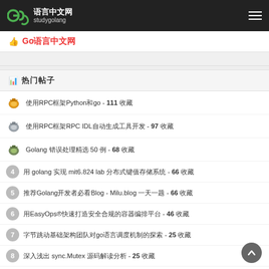语言中文网 studygolang
Go语言中文网
热门帖子
使用RPC框架Python和go - 111 收藏
使用RPC框架RPC IDL自动生成工具开发 - 97 收藏
Golang 错误处理精选 50 例 - 68 收藏
用 golang 实现 mit6.824 lab 分布式键值存储系统 - 66 收藏
推荐Golang开发者必看Blog - Milu.blog 一天一题 - 66 收藏
用EasyOps®快速打造安全合规的容器编排平台 - 46 收藏
字节跳动基础架构团队对go语言调度机制的探索 - 25 收藏
深入浅出 sync.Mutex 源码解读分析 - 25 收藏
sqlgen 支持 gorm,xorm,sqlx,sql,bun 的生成工具 - 20 收藏